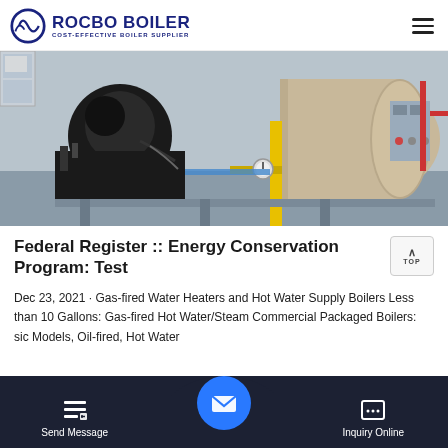ROCBO BOILER - COST-EFFECTIVE BOILER SUPPLIER
[Figure (photo): Industrial gas-fired boiler equipment in an industrial setting. Large horizontal cylindrical boiler tank visible on the right, a black burner assembly on the left, yellow vertical pipe in the center foreground, red pipes and control panels visible.]
Federal Register :: Energy Conservation Program: Test
Dec 23, 2021 · Gas-fired Water Heaters and Hot Water Supply Boilers Less than 10 Gallons: Gas-fired Hot Water/Steam Commercial Packaged Boilers: sic Models, Oil-fired, Hot Water ... l B... 2 B...
Send Message | Inquiry Online